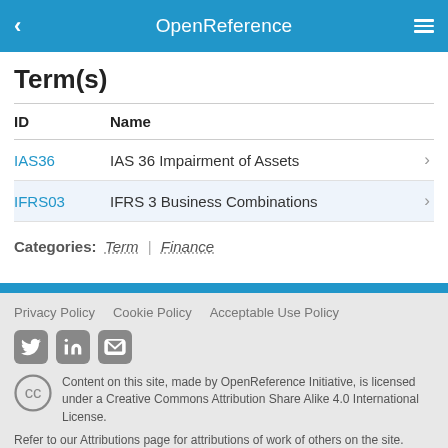OpenReference
Term(s)
| ID | Name |
| --- | --- |
| IAS36 | IAS 36 Impairment of Assets |
| IFRS03 | IFRS 3 Business Combinations |
Categories: Term | Finance
Privacy Policy  Cookie Policy  Acceptable Use Policy
Content on this site, made by OpenReference Initiative, is licensed under a Creative Commons Attribution Share Alike 4.0 International License.
Refer to our Attributions page for attributions of work of others on the site.